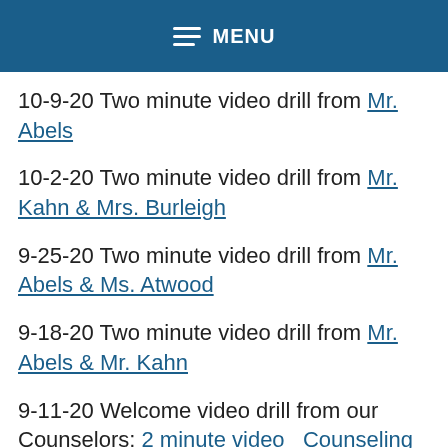MENU
10-9-20 Two minute video drill from Mr. Abels
10-2-20 Two minute video drill from Mr. Kahn & Mrs. Burleigh
9-25-20 Two minute video drill from Mr. Abels & Ms. Atwood
9-18-20 Two minute video drill from Mr. Abels & Mr. Kahn
9-11-20 Welcome video drill from our Counselors: 2 minute video   Counseling